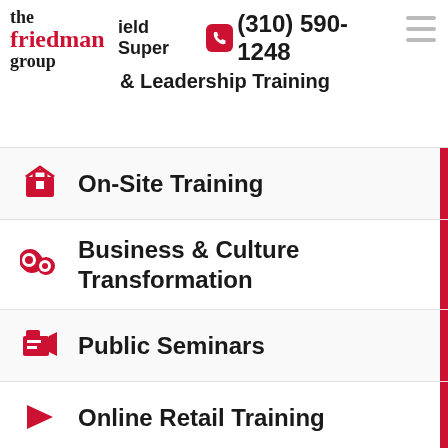the friedman group | Field Supervisors (310) 590-1248 & Leadership Training
On-Site Training
Business & Culture Transformation
Public Seminars
Online Retail Training
Branded Training Sites